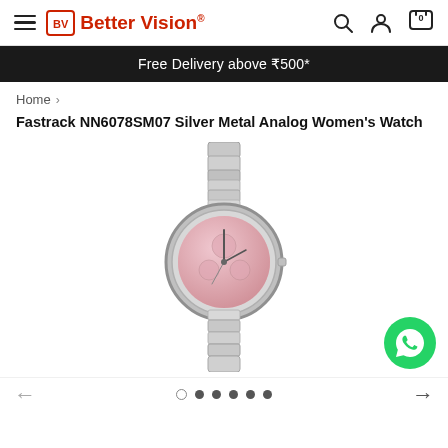Better Vision® — navigation header with hamburger menu, logo, search, account, and cart icons
Free Delivery above ₹500*
Home >
Fastrack NN6078SM07 Silver Metal Analog Women's Watch
[Figure (photo): Fastrack NN6078SM07 women's analog watch with silver metal bracelet band and pink dial, shown on white background]
Carousel navigation: left arrow, dots (empty, filled, filled, filled, filled, filled), right arrow